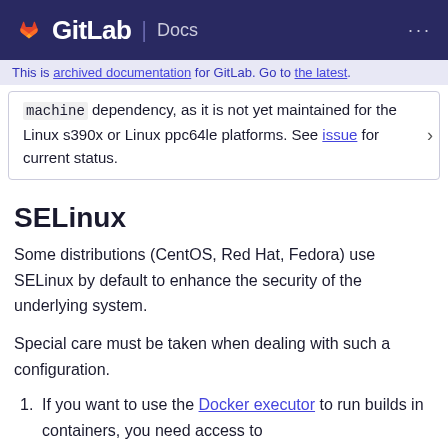GitLab Docs
This is archived documentation for GitLab. Go to the latest.
machine dependency, as it is not yet maintained for the Linux s390x or Linux ppc64le platforms. See issue for current status.
SELinux
Some distributions (CentOS, Red Hat, Fedora) use SELinux by default to enhance the security of the underlying system.
Special care must be taken when dealing with such a configuration.
If you want to use the Docker executor to run builds in containers, you need access to /var/run/docker.sock. However, if SELinux is in